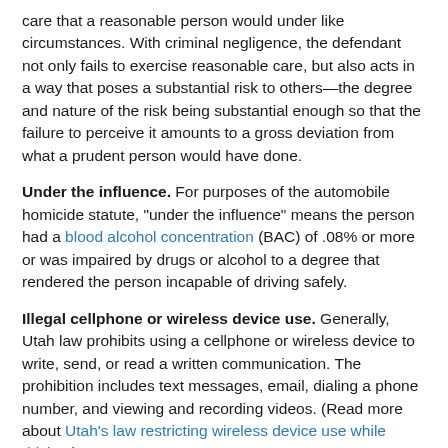care that a reasonable person would under like circumstances. With criminal negligence, the defendant not only fails to exercise reasonable care, but also acts in a way that poses a substantial risk to others—the degree and nature of the risk being substantial enough so that the failure to perceive it amounts to a gross deviation from what a prudent person would have done.
Under the influence. For purposes of the automobile homicide statute, "under the influence" means the person had a blood alcohol concentration (BAC) of .08% or more or was impaired by drugs or alcohol to a degree that rendered the person incapable of driving safely.
Illegal cellphone or wireless device use. Generally, Utah law prohibits using a cellphone or wireless device to write, send, or read a written communication. The prohibition includes text messages, email, dialing a phone number, and viewing and recording videos. (Read more about Utah's law restricting wireless device use while driving.)